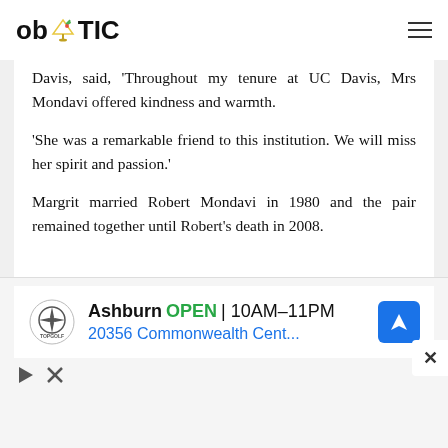ob TIC
Davis, said, ‘Throughout my tenure at UC Davis, Mrs Mondavi offered kindness and warmth.
‘She was a remarkable friend to this institution. We will miss her spirit and passion.’
Margrit married Robert Mondavi in 1980 and the pair remained together until Robert’s death in 2008.
[Figure (infographic): Advertisement banner for Topgolf Ashburn showing logo, OPEN 10AM-11PM hours, address 20356 Commonwealth Cent..., navigation icon, play button and close button]